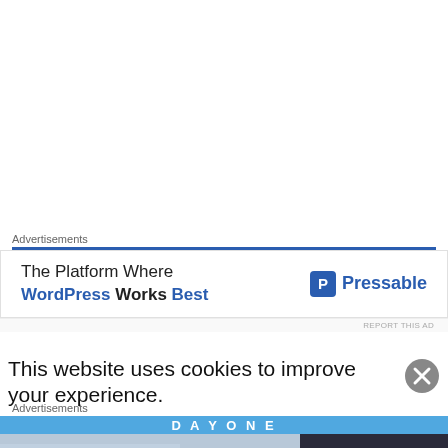Advertisements
[Figure (screenshot): Advertisement banner: 'The Platform Where WordPress Works Best' with Pressable logo on the right side]
REPORT THIS AD
This website uses cookies to improve your experience.
Advertisements
[Figure (screenshot): Advertisement image showing 'DAY ONE' banner above an airplane cargo loading scene, with 'WITHOUT REGARD TO' text on the right side]